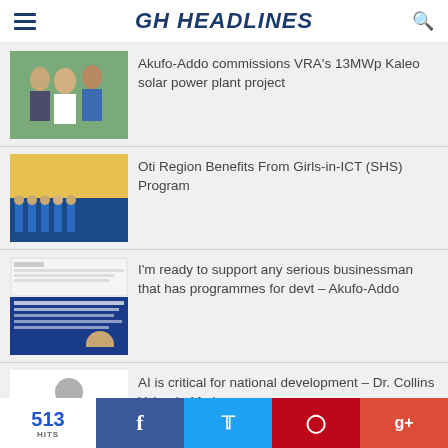GH HEADLINES
Akufo-Addo commissions VRA's 13MWp Kaleo solar power plant project
Oti Region Benefits From Girls-in-ICT (SHS) Program
I'm ready to support any serious businessman that has programmes for devt – Akufo-Addo
AI is critical for national development – Dr. Collins Yeboah-Afari
513 HITS